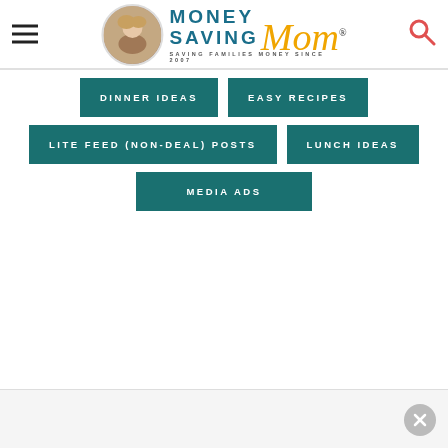[Figure (logo): Money Saving Mom logo with circular photo of woman, blue MONEY SAVING text, orange cursive Mom, tagline SAVING FAMILIES MONEY SINCE 2007]
DINNER IDEAS
EASY RECIPES
LITE FEED (NON-DEAL) POSTS
LUNCH IDEAS
MEDIA ADS